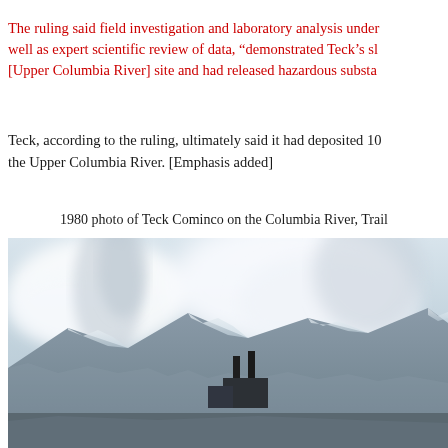The ruling said field investigation and laboratory analysis under well as expert scientific review of data, "demonstrated Teck's sl [Upper Columbia River] site and had released hazardous substa
Teck, according to the ruling, ultimately said it had deposited 10 the Upper Columbia River. [Emphasis added]
1980 photo of Teck Cominco on the Columbia River, Trail
[Figure (photo): Black and white / muted color 1980 photograph showing Teck Cominco industrial facility on the Columbia River in Trail, BC. Large smoke plumes and clouds rise above snow-covered mountains. Industrial chimneys are visible in the foreground.]